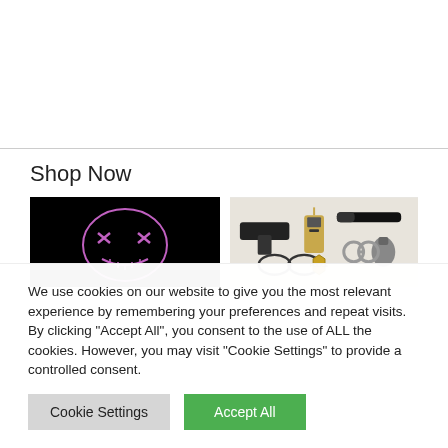Shop Now
[Figure (photo): Black background with a glowing purple LED purge mask (XX eyes and stitched mouth design)]
[Figure (photo): White background with a collection of tactical/costume gear items including a toy gun, walkie-talkie, handcuffs, grenade, goggles, and badge]
We use cookies on our website to give you the most relevant experience by remembering your preferences and repeat visits. By clicking "Accept All", you consent to the use of ALL the cookies. However, you may visit "Cookie Settings" to provide a controlled consent.
Cookie Settings
Accept All